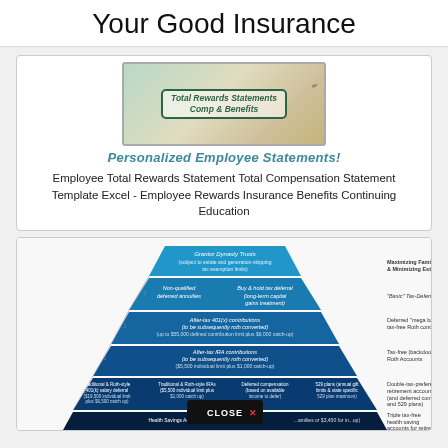Your Good Insurance
[Figure (illustration): Total Rewards Statements Comp & Benefits booklet image with pencil/pen]
Personalized Employee Statements!
Employee Total Rewards Statement Total Compensation Statement Template Excel - Employee Rewards Insurance Benefits Continuing Education
[Figure (infographic): Pyramid diagram showing tax-advantaged investment/savings strategies from Grantor Dynasty Trusts at top to Health Savings Accounts at bottom, with labels for Maximizing Family Wealth & Minimizing Estate Taxes, Basic Tax-Deferred Growth, Deferred mega backdoor tax-free Roth contributions, Tax-free (backdoor) Roth Accounts, Double-tax-preferenced retirement accounts (and deferred compensation and 529 plans), and Triple tax-free health saving accounts for retirees. A CLOSE X button overlay appears at the bottom.]